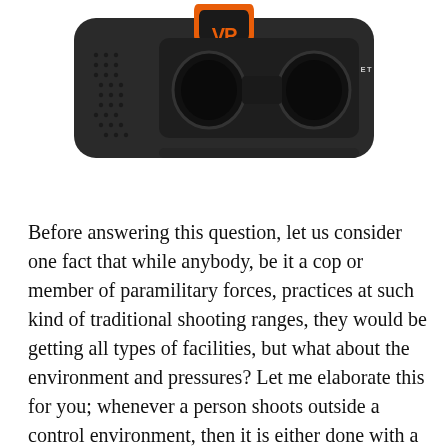[Figure (photo): Photo of a black Urban Carry VR headset (Immersive Virtual Reality Headset) with an orange VP logo on top, shot from above/front angle on white background. Text on the device reads 'URBAN CARRY IMMERSIVE VIRTUAL REALITY HEADSET DISCOVER PLAY TRAIN'.]
Before answering this question, let us consider one fact that while anybody, be it a cop or member of paramilitary forces, practices at such kind of traditional shooting ranges, they would be getting all types of facilities, but what about the environment and pressures? Let me elaborate this for you; whenever a person shoots outside a control environment, then it is either done with a defensive or attacking stance, both of which are the result of tense situations. This is altogether